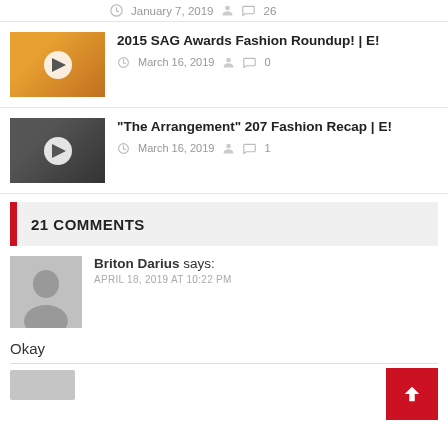January 7, 2019  26
2015 SAG Awards Fashion Roundup! | E!
March 16, 2019  0
“The Arrangement” 207 Fashion Recap | E!
March 16, 2019  1
21 COMMENTS
Briton Darius says:
APRIL 18, 2019 AT 10:22 PM
Okay